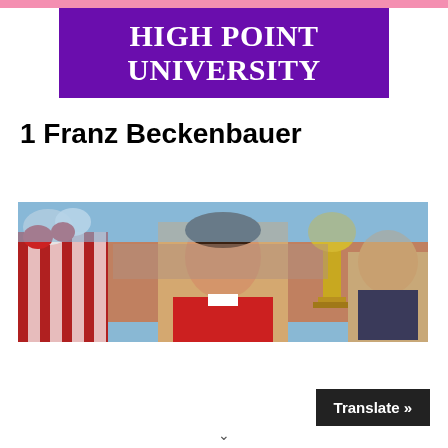[Figure (logo): High Point University logo — white serif text on purple background reading 'HIGH POINT UNIVERSITY']
1 Franz Beckenbauer
[Figure (photo): Franz Beckenbauer holding a trophy at a stadium celebration, surrounded by flowers and a crowd in the background]
Translate »